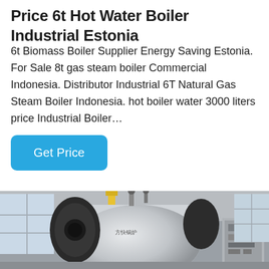Price 6t Hot Water Boiler Industrial Estonia
6t Biomass Boiler Supplier Energy Saving Estonia. For Sale 8t gas steam boiler Commercial Indonesia. Distributor Industrial 6T Natural Gas Steam Boiler Indonesia. hot boiler water 3000 liters price Industrial Boiler…
[Figure (other): A cyan/blue rounded rectangle button labeled 'Get Price']
[Figure (photo): Industrial hot water boiler in a factory/warehouse setting. Large cylindrical silver and black boiler unit with Chinese manufacturer branding, mounted on a stand with a control panel on the right side. Industrial windows visible in the background.]